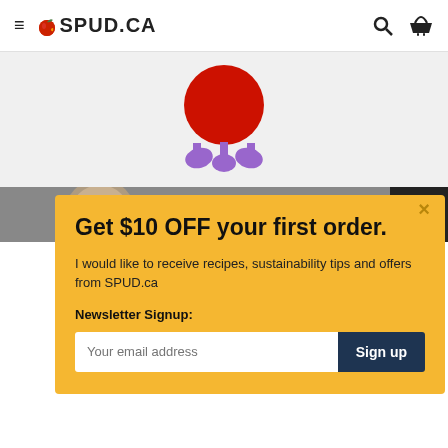≡ 🍎 SPUD.CA
[Figure (illustration): SPUD.CA logo character — red circular figure with purple legs on light grey background]
[Figure (photo): Partial photo showing a product with 'SOBER CARPENTER' text on label]
Get $10 OFF your first order.
I would like to receive recipes, sustainability tips and offers from SPUD.ca
Newsletter Signup:
Your email address  Sign up